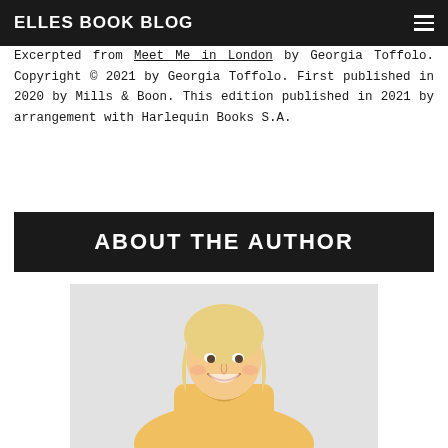ELLES BOOK BLOG
Excerpted from Meet Me in London by Georgia Toffolo. Copyright © 2021 by Georgia Toffolo. First published in 2020 by Mills & Boon. This edition published in 2021 by arrangement with Harlequin Books S.A.
ABOUT THE AUTHOR
[Figure (photo): Author photo of Georgia Toffolo, a blonde woman in a yellow dress, smiling and laughing against a light grey background]